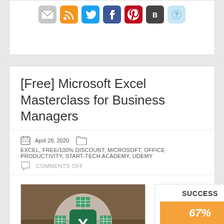[Figure (other): Social media sharing icons row: email, RSS, Twitter, Facebook, Pinterest, Blogger, another icon]
[Free] Microsoft Excel Masterclass for Business Managers
April 28, 2020   EXCEL, FREE/100% DISCOUNT, MICROSOFT, OFFICE PRODUCTIVITY, START-TECH ACADEMY, UDEMY
COMMENTS OFF
[Figure (photo): Microsoft Excel course thumbnail showing Excel logo with spreadsheet network icons overlay on dark background]
[Figure (infographic): Success rate box showing 67% in orange bar with thumbs up and thumbs down vote buttons]
REDEEM OFFER